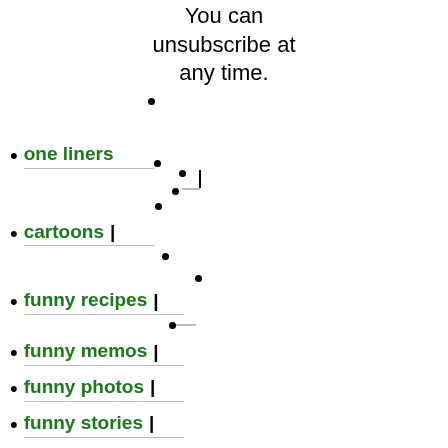You can unsubscribe at any time.
one liners
cartoons
funny recipes
funny memos
funny photos
funny stories
funny poetry
funny letters